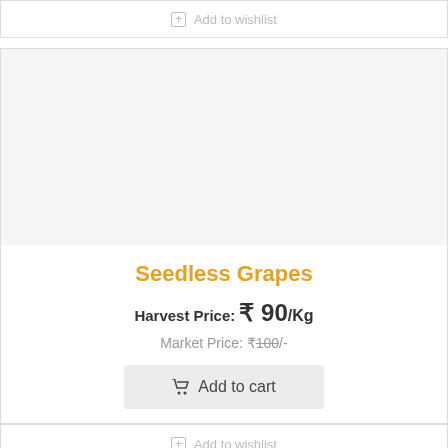+ Add to wishlist
[Figure (photo): Product image placeholder area (light gray background) for Seedless Grapes]
Seedless Grapes
Harvest Price: ₹ 90/Kg
Market Price: ₹100/-
Add to cart
+ Add to wishlist